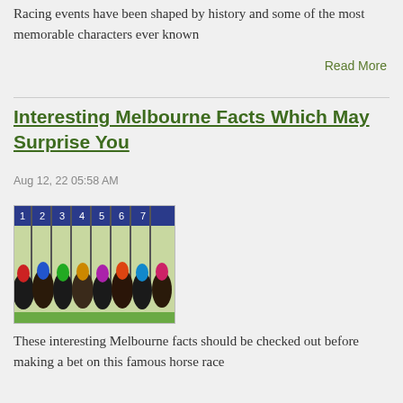Racing events have been shaped by history and some of the most memorable characters ever known
Read More
Interesting Melbourne Facts Which May Surprise You
Aug 12, 22 05:58 AM
[Figure (photo): Horse racing starting gates with jockeys and horses lined up, numbered stalls 1 through 7 visible]
These interesting Melbourne facts should be checked out before making a bet on this famous horse race